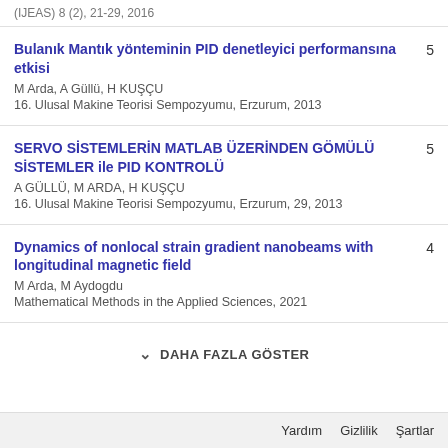(IJEAS) 8 (2), 21-29, 2016
Bulanık Mantık yönteminin PID denetleyici performansına etkisi
M Arda, A Güllü, H KUŞÇU
16. Ulusal Makine Teorisi Sempozyumu, Erzurum, 2013
5
SERVO SİSTEMLERİN MATLAB ÜZERİNDEN GÖMÜLÜ SİSTEMLER ile PID KONTROLÜ
A GÜLLÜ, M ARDA, H KUŞÇU
16. Ulusal Makine Teorisi Sempozyumu, Erzurum, 29, 2013
5
Dynamics of nonlocal strain gradient nanobeams with longitudinal magnetic field
M Arda, M Aydogdu
Mathematical Methods in the Applied Sciences, 2021
4
DAHA FAZLA GÖSTER
Yardım  Gizlilik  Şartlar